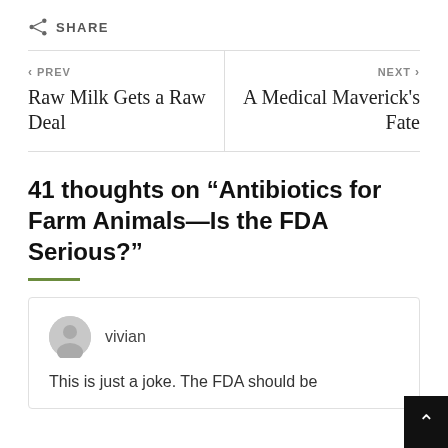SHARE
< PREV
Raw Milk Gets a Raw Deal
NEXT >
A Medical Maverick's Fate
41 thoughts on “Antibiotics for Farm Animals—Is the FDA Serious?”
vivian
This is just a joke. The FDA should be